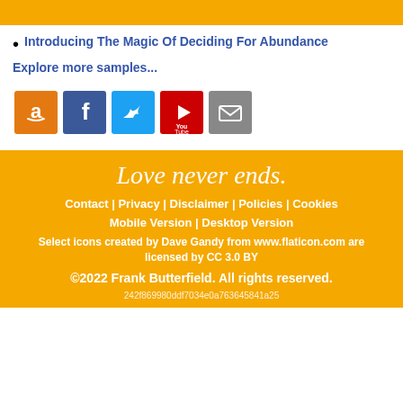Introducing The Magic Of Deciding For Abundance
Explore more samples...
[Figure (infographic): Row of five social media icon buttons: Amazon (orange), Facebook (dark blue), Twitter (light blue), YouTube (red), and Email (gray)]
Love never ends.
Contact | Privacy | Disclaimer | Policies | Cookies
Mobile Version | Desktop Version
Select icons created by Dave Gandy from www.flaticon.com are licensed by CC 3.0 BY
©2022 Frank Butterfield. All rights reserved.
242f869980ddf7034e0a763645841a25